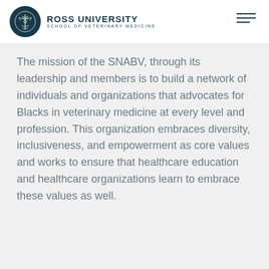[Figure (logo): Ross University School of Veterinary Medicine logo with circular emblem and text]
The mission of the SNABV, through its leadership and members is to build a network of individuals and organizations that advocates for Blacks in veterinary medicine at every level and profession. This organization embraces diversity, inclusiveness, and empowerment as core values and works to ensure that healthcare education and healthcare organizations learn to embrace these values as well.